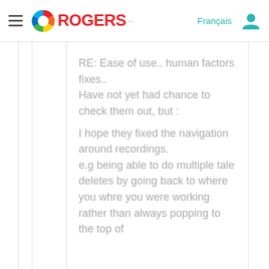Rogers — Français (navigation header)
RE: Ease of use.. human factors fixes..
Have not yet had chance to check them out, but :

I hope they fixed the navigation around recordings.
e.g being able to do multiple tale deletes by going back to where you whre you were working rather than always popping to the top of